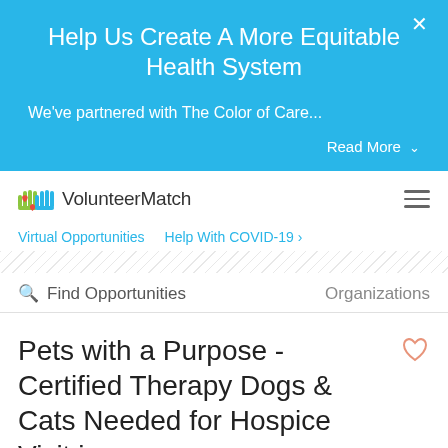Help Us Create A More Equitable Health System
We've partnered with The Color of Care...
Read More ∨
[Figure (logo): VolunteerMatch logo with two hands and a heart]
VolunteerMatch
Virtual Opportunities   Help With COVID-19 ›
🔭 Find Opportunities   Organizations
Pets with a Purpose - Certified Therapy Dogs & Cats Needed for Hospice Visit in